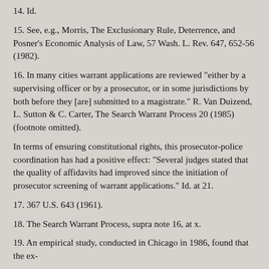14. Id.
15. See, e.g., Morris, The Exclusionary Rule, Deterrence, and Posner's Economic Analysis of Law, 57 Wash. L. Rev. 647, 652-56 (1982).
16. In many cities warrant applications are reviewed "either by a supervising officer or by a prosecutor, or in some jurisdictions by both before they [are] submitted to a magistrate." R. Van Duizend, L. Sutton & C. Carter, The Search Warrant Process 20 (1985) (footnote omitted).
In terms of ensuring constitutional rights, this prosecutor-police coordination has had a positive effect: "Several judges stated that the quality of affidavits had improved since the initiation of prosecutor screening of warrant applications." Id. at 21.
17. 367 U.S. 643 (1961).
18. The Search Warrant Process, supra note 16, at x.
19. An empirical study, conducted in Chicago in 1986, found that the ex-
clusionary rule significantly deters police violations of Fourth Amendment rights. That study was based on a series of interviews with officers and supervisors in the Narcotics Section of the